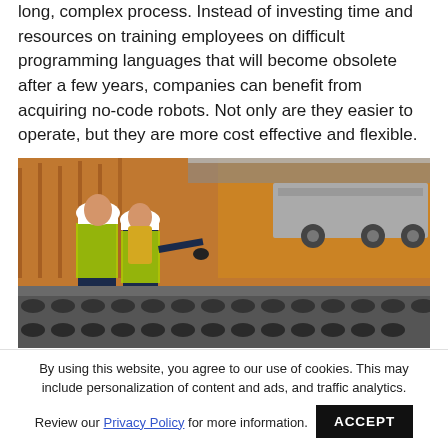long, complex process. Instead of investing time and resources on training employees on difficult programming languages that will become obsolete after a few years, companies can benefit from acquiring no-code robots. Not only are they easier to operate, but they are more cost effective and flexible.
[Figure (photo): Two workers in high-visibility yellow vests and white hard hats examining machinery on a factory floor with conveyor rollers and industrial equipment in background.]
By using this website, you agree to our use of cookies. This may include personalization of content and ads, and traffic analytics.
Review our Privacy Policy for more information.